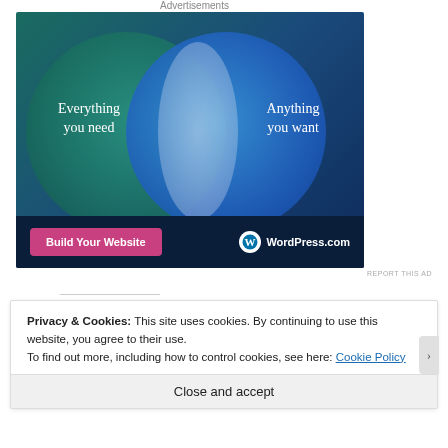Advertisements
[Figure (infographic): WordPress.com advertisement with two overlapping circles (Venn diagram) on a dark teal/blue background. Left circle: 'Everything you need', Right circle: 'Anything you want'. Bottom has a pink 'Build Your Website' button and WordPress.com logo.]
REPORT THIS AD
Privacy & Cookies: This site uses cookies. By continuing to use this website, you agree to their use.
To find out more, including how to control cookies, see here: Cookie Policy
Close and accept